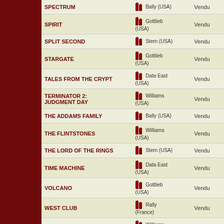| Name | Manufacturer | Status |
| --- | --- | --- |
| SPECTRUM | Bally (USA) | Vendu |
| SPIRIT | Gottlieb (USA) | Vendu |
| SPLIT SECOND | Stern (USA) | Vendu |
| STARGATE | Gottlieb (USA) | Vendu |
| TALES FROM THE CRYPT | Data East (USA) | Vendu |
| TERMINATOR 2: JUDGMENT DAY | Williams (USA) | Vendu |
| THE ADDAMS FAMILY | Bally (USA) | Vendu |
| THE FLINTSTONES | Williams (USA) | Vendu |
| THE LORD OF THE RINGS | Stern (USA) | Vendu |
| TIME MACHINE | Data East (USA) | Vendu |
| VOLCANO | Gottlieb (USA) | Vendu |
| WEST CLUB | Rally (France) | Vendu |
| WHIRLWIND | Williams (USA) | Vendu |
| WHITE WATER | Williams (USA) | Vendu |
| WIZARD | Bally (USA) | Vendu |